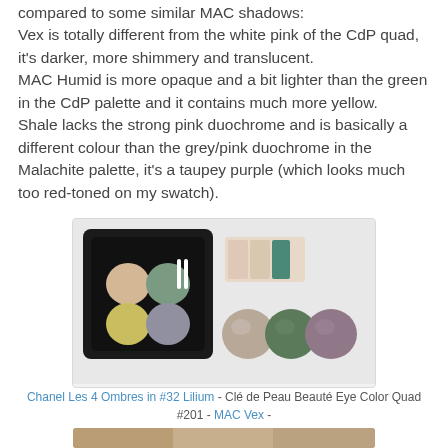compared to some similar MAC shadows:
Vex is totally different from the white pink of the CdP quad, it's darker, more shimmery and translucent.
MAC Humid is more opaque and a bit lighter than the green in the CdP palette and it contains much more yellow.
Shale lacks the strong pink duochrome and is basically a different colour than the grey/pink duochrome in the Malachite palette, it's a taupey purple (which looks much too red-toned on my swatch).
[Figure (photo): Photo showing Chanel Les 4 Ombres eyeshadow compact in #32 Lilium open, alongside Clé de Peau Beauté Eye Color Quad #201 in its packaging, and three MAC eyeshadow pans (MAC Vex, MAC Humid, MAC Shale) arranged below.]
Chanel Les 4 Ombres in #32 Lilium - Clé de Peau Beauté Eye Color Quad #201 - MAC Vex - MAC Humid - MAC Shale
[Figure (photo): Partial photo showing eyeshadow swatches on skin, partially cropped.]